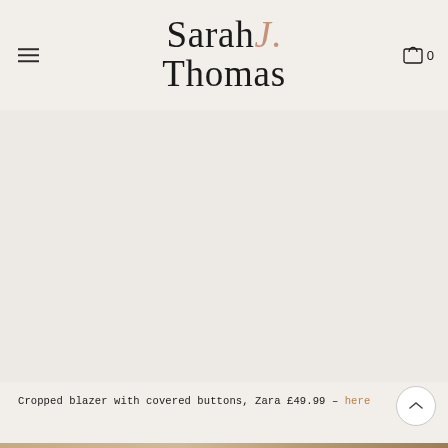Sarah J. Thomas — navigation header with logo and cart icon showing 0
[Figure (photo): Large light beige/cream empty main content image area]
Cropped blazer with covered buttons, Zara £49.99 – here